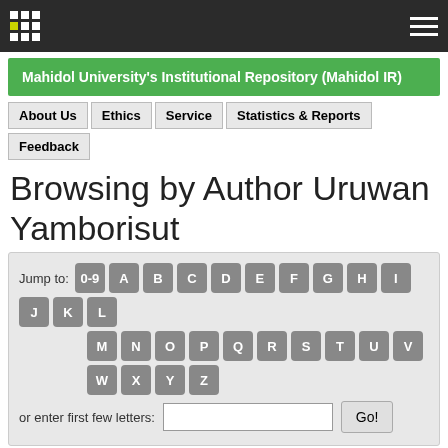Mahidol University's Institutional Repository (Mahidol IR)
Browsing by Author Uruwan Yamborisut
Jump to: 0-9 A B C D E F G H I J K L M N O P Q R S T U V W X Y Z or enter first few letters: Go!
Sort by: title  In order: Ascending  Results/Page 20  Authors/Record: All  Update